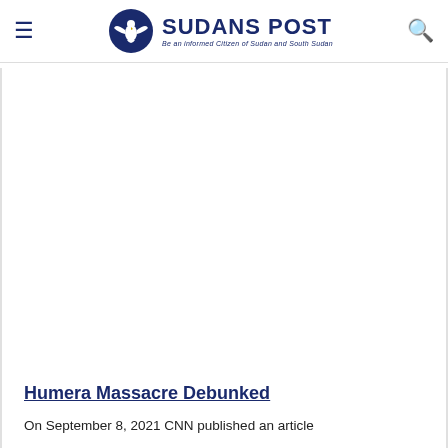SUDANS POST — Be an informed Citizen of Sudan and South Sudan
Humera Massacre Debunked
On September 8, 2021 CNN published an article